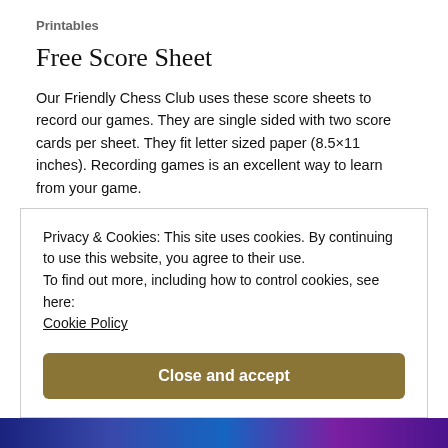Printables
Free Score Sheet
Our Friendly Chess Club uses these score sheets to record our games. They are single sided with two score cards per sheet. They fit letter sized paper (8.5×11 inches). Recording games is an excellent way to learn from your game.
February 13, 2020
Privacy & Cookies: This site uses cookies. By continuing to use this website, you agree to their use.
To find out more, including how to control cookies, see here: Cookie Policy
Close and accept
[Figure (photo): Strip of bookshelf photo at the bottom of the page with blue/purple tones]